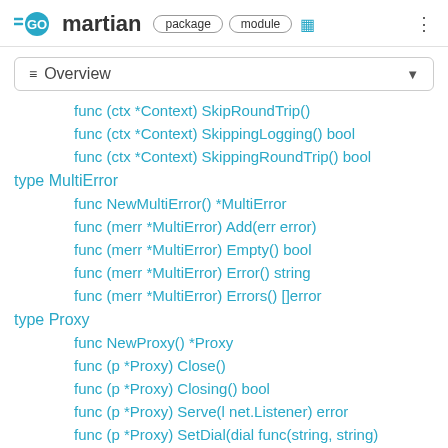GO martian package module
≡ Overview
func (ctx *Context) SkipRoundTrip()
func (ctx *Context) SkippingLogging() bool
func (ctx *Context) SkippingRoundTrip() bool
type MultiError
func NewMultiError() *MultiError
func (merr *MultiError) Add(err error)
func (merr *MultiError) Empty() bool
func (merr *MultiError) Error() string
func (merr *MultiError) Errors() []error
type Proxy
func NewProxy() *Proxy
func (p *Proxy) Close()
func (p *Proxy) Closing() bool
func (p *Proxy) Serve(l net.Listener) error
func (p *Proxy) SetDial(dial func(string, string)